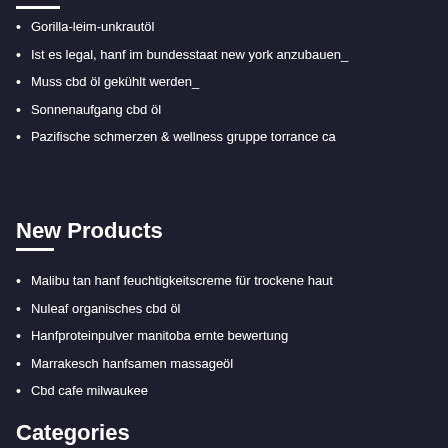Gorilla-leim-unkrautöl
Ist es legal, hanf im bundesstaat new york anzubauen_
Muss cbd öl gekühlt werden_
Sonnenaufgang cbd öl
Pazifische schmerzen & wellness gruppe torrance ca
New Products
Malibu tan hanf feuchtigkeitscreme für trockene haut
Nuleaf organisches cbd öl
Hanfproteinpulver manitoba ernte bewertung
Marrakesch hanfsamen massageöl
Cbd cafe milwaukee
Categories